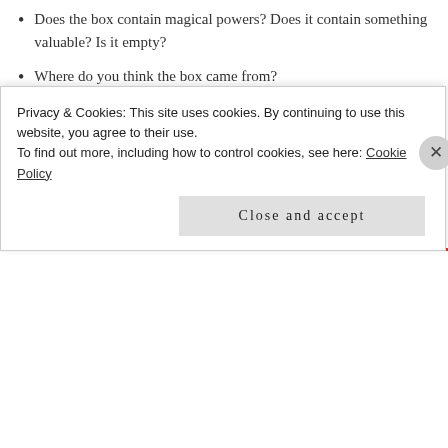Does the box contain magical powers? Does it contain something valuable? Is it empty?
Where do you think the box came from?
How did the box end up on the running trail?
[Figure (screenshot): Advertisements banner with text 'Professionally designed sites']
Lots of good ideas here to get started on your story!
Privacy & Cookies: This site uses cookies. By continuing to use this website, you agree to their use.
To find out more, including how to control cookies, see here: Cookie Policy
Close and accept